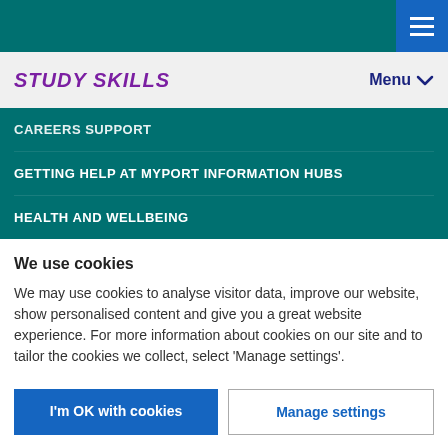STUDY SKILLS
CAREERS SUPPORT
GETTING HELP AT MYPORT INFORMATION HUBS
HEALTH AND WELLBEING
We use cookies
We may use cookies to analyse visitor data, improve our website, show personalised content and give you a great website experience. For more information about cookies on our site and to tailor the cookies we collect, select 'Manage settings'.
I'm OK with cookies
Manage settings